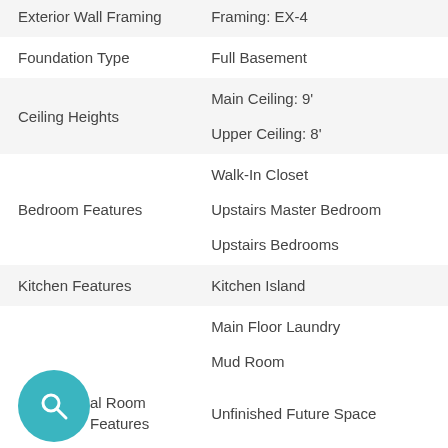| Feature | Value |
| --- | --- |
| Exterior Wall Framing | Framing: EX-4 |
| Foundation Type | Full Basement |
| Ceiling Heights | Main Ceiling: 9'
Upper Ceiling: 8' |
| Bedroom Features | Walk-In Closet
Upstairs Master Bedroom
Upstairs Bedrooms |
| Kitchen Features | Kitchen Island |
|  | Main Floor Laundry
Mud Room |
| al Room Features | Unfinished Future Space |